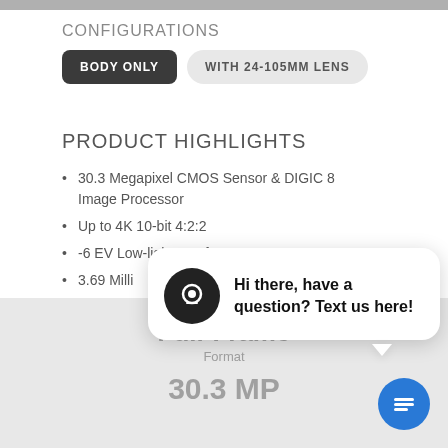CONFIGURATIONS
BODY ONLY | WITH 24-105MM LENS
PRODUCT HIGHLIGHTS
30.3 Megapixel CMOS Sensor & DIGIC 8 Image Processor
Up to 4K 10-bit 4:2:2
-6 EV Low-light Autofocus
3.69 Milli...
Multi-ang...
Full-Frame
Format
30.3 MP
[Figure (screenshot): Chat popup with camera icon and message: Hi there, have a question? Text us here!]